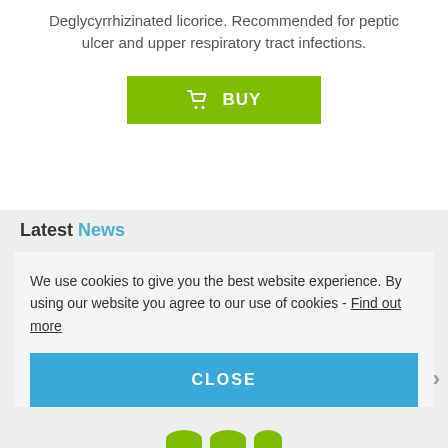Deglycyrrhizinated licorice. Recommended for peptic ulcer and upper respiratory tract infections.
[Figure (other): Green BUY button with shopping cart icon]
Latest News
We use cookies to give you the best website experience. By using our website you agree to our use of cookies - Find out more
[Figure (other): Blue CLOSE button for cookie consent overlay]